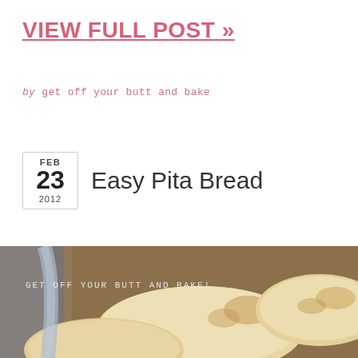VIEW FULL POST »
by get off your butt and bake
Easy Pita Bread
FEB 23 2012
[Figure (photo): Photo of pita breads on a baking tray with watermark text 'GET OFF YOUR BUTT AND BAKE!']